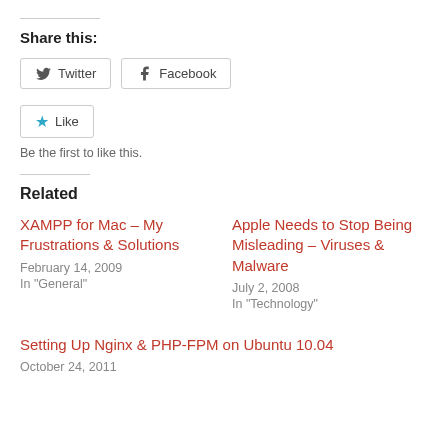Share this:
Twitter  Facebook
Like  Be the first to like this.
Related
XAMPP for Mac – My Frustrations & Solutions
February 14, 2009
In "General"
Apple Needs to Stop Being Misleading – Viruses & Malware
July 2, 2008
In "Technology"
Setting Up Nginx & PHP-FPM on Ubuntu 10.04
October 24, 2011